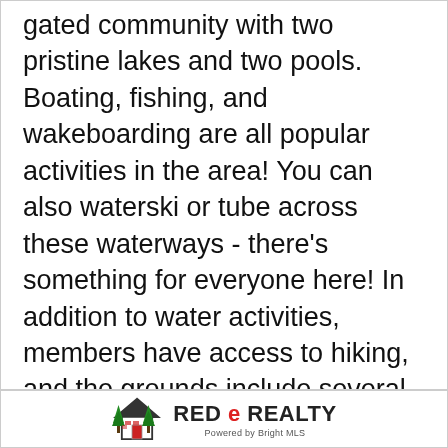gated community with two pristine lakes and two pools. Boating, fishing, and wakeboarding are all popular activities in the area! You can also waterski or tube across these waterways - there's something for everyone here! In addition to water activities, members have access to hiking, and the grounds include several parks/pavilions where you'll often spot natural wildlife. This home is located in close proximity to lake access at A, B or G docks. For added peace of mind, the seller is offering a one-year HSA home warranty with an acceptable agreement!Schedule your showing today!
[Figure (logo): Red e Realty logo with house and trees icon, company name in bold text]